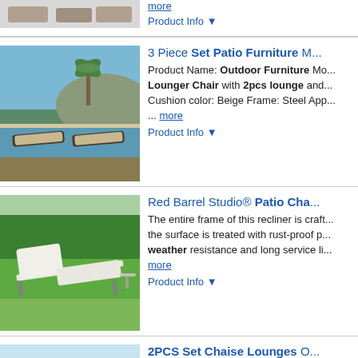[Figure (photo): Partial product image of patio furniture set at top of page]
more
Product Info ▼
3 Piece Set Patio Furniture M...
[Figure (photo): Outdoor lounge chairs by a pool with palm trees in background]
Product Name: Outdoor Furniture Mo... Lounger Chair with 2pcs lounge and... Cushion color: Beige Frame: Steel App... ... more
Product Info ▼
Red Barrel Studio® Patio Cha...
[Figure (photo): White reclining chaise lounge on green lawn]
The entire frame of this recliner is craft... the surface is treated with rust-proof p... weather resistance and long service li... more
Product Info ▼
2PCS Set Chaise Lounges O...
[Figure (photo): Gray chaise lounge chair near water]
Description The 2-pcs set chaise lour... aluminum and breathable textilene fab... comfortable.It can be placed indoors o... ... more
Product Info ▼
Rattan Wicker Patio Lounge C...
[Figure (photo): Rattan wicker lounge chair at sunset]
Material: PE Wicker Rattan & Aluminu... 27.56"(W) x 13.78"/33.46"(H) Seat Hei... 64.2"(L)*28.7"(W)*25.6"(H) Shipping...